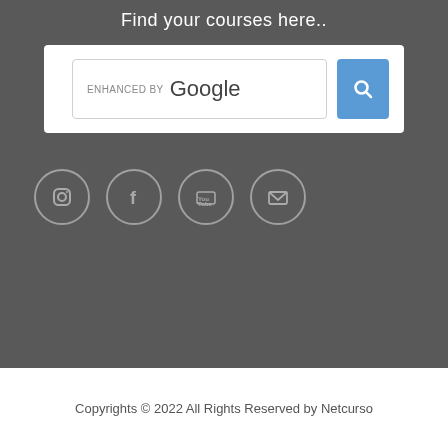Find your courses here..
[Figure (screenshot): Google Custom Search box with blue search button showing magnifying glass icon]
[Figure (other): Row of four social media icon circles: Instagram, Facebook, YouTube, Email/envelope]
Copyrights © 2022 All Rights Reserved by Netcurso